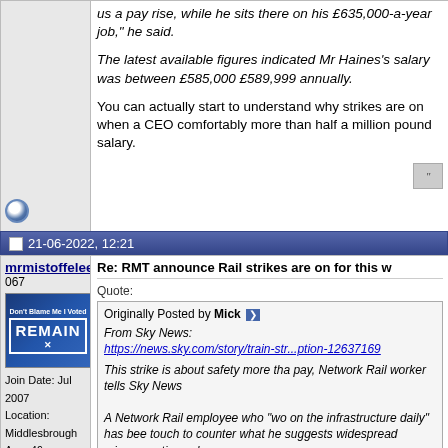us a pay rise, while he sits there on his £635,000-a-year job," he said.
The latest available figures indicated Mr Haines's salary was between £585,000 £589,999 annually.
You can actually start to understand why strikes are on when a CEO comfortably more than half a million pound salary.
21-06-2022, 12:21
mrmistoffelees
067
[Figure (photo): Avatar image showing 'Don't Blame Me I Voted REMAIN' badge/button]
Join Date: Jul 2007
Location: Middlesbrough
Age: 46
Services: Many
Posts: 4,197
Re: RMT announce Rail strikes are on for this w
Quote:
Originally Posted by Mick
From Sky News:
https://news.sky.com/story/train-str...ption-12637169

This strike is about safety more than pay, Network Rail worker tells Sky News

A Network Rail employee who "works on the infrastructure daily" has been in touch to counter what he suggests are widespread misconceptions about